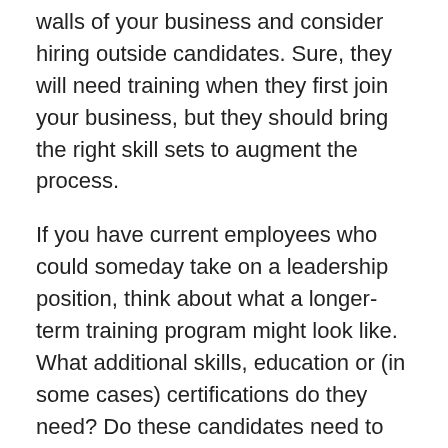walls of your business and consider hiring outside candidates. Sure, they will need training when they first join your business, but they should bring the right skill sets to augment the process.
If you have current employees who could someday take on a leadership position, think about what a longer-term training program might look like. What additional skills, education or (in some cases) certifications do they need? Do these candidates need to get a sense of the responsibilities in other areas of your business to help them become more knowledgeable and well-rounded? Who are the mentors who can guide these candidates along the way? (Learn more about the importance of business mentorship.)